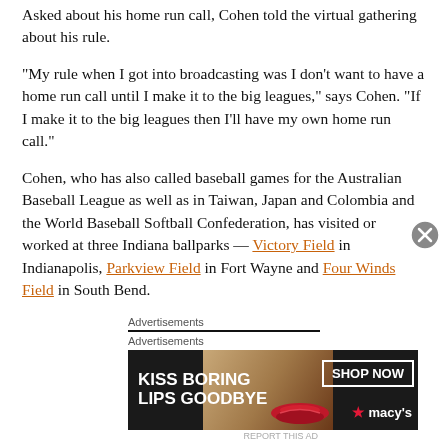Asked about his home run call, Cohen told the virtual gathering about his rule.
“My rule when I got into broadcasting was I don’t want to have a home run call until I make it to the big leagues,” says Cohen. “If I make it to the big leagues then I’ll have my own home run call.”
Cohen, who has also called baseball games for the Australian Baseball League as well as in Taiwan, Japan and Colombia and the World Baseball Softball Confederation, has visited or worked at three Indiana ballparks — Victory Field in Indianapolis, Parkview Field in Fort Wayne and Four Winds Field in South Bend.
Advertisements
[Figure (other): Advertisement banner: KISS BORING LIPS GOODBYE with SHOP NOW button and Macy's logo]